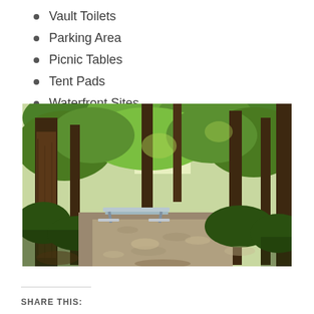Vault Toilets
Parking Area
Picnic Tables
Tent Pads
Waterfront Sites
[Figure (photo): Forest campsite with tall trees, dappled sunlight, gravel path, and picnic table visible in the middle distance surrounded by lush green vegetation.]
SHARE THIS: